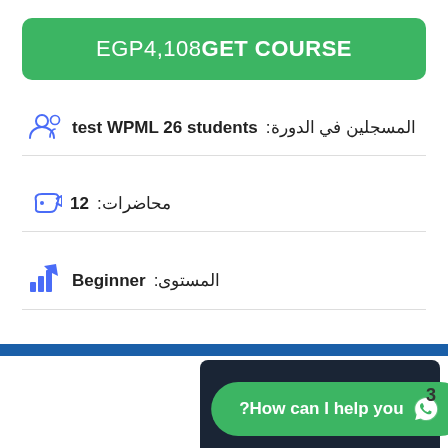EGP4,108 GET COURSE
المسجلين في الدورة: test WPML 26 students
محاضرات: 12
المستوى: Beginner
How can I help you?